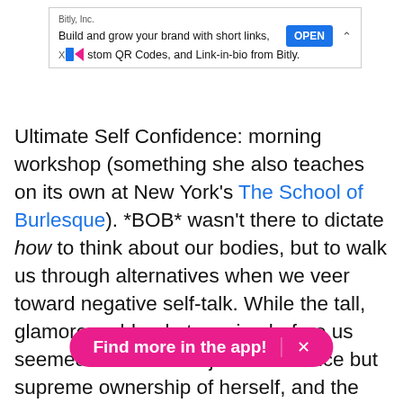[Figure (screenshot): Advertisement banner from Bitly, Inc. showing 'Build and grow your brand with short links, Custom QR Codes, and Link-in-bio from Bitly.' with an OPEN button.]
Ultimate Self Confidence: morning workshop (something she also teaches on its own at New York's The School of Burlesque). *BOB* wasn't there to dictate how to think about our bodies, but to walk us through alternatives when we veer toward negative self-talk. While the tall, glamorous, blonde towering before us seemed to exude not just confidence but supreme ownership of herself, and the room, she made it clear that she's acquired her knowledge first-hand. After leaving home as a teenager, *BOB* found a community of gay men who took her in; she didn't identifying as a woman until she became involved in burlesque an                               on for her body. Even then, she was faced with hecklers and
[Figure (other): Pink pill-shaped app promotion button reading 'Find more in the app!' with an X close button.]